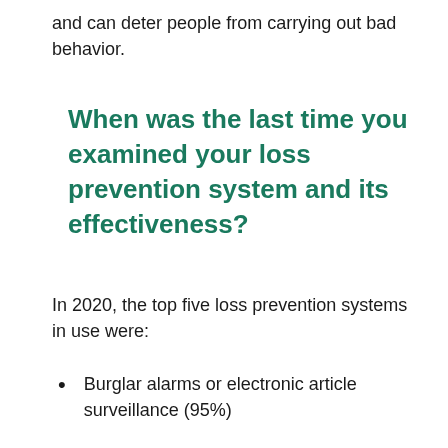and can deter people from carrying out bad behavior.
When was the last time you examined your loss prevention system and its effectiveness?
In 2020, the top five loss prevention systems in use were:
Burglar alarms or electronic article surveillance (95%)